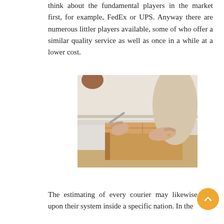think about the fundamental players in the market first, for example, FedEx or UPS. Anyway there are numerous littler players available, some of who offer a similar quality service as well as once in a while at a lower cost.
[Figure (photo): A person in a beige sweater writing on a cardboard shipping box with a pen, placed on a wooden surface. Bubble wrap visible in the background.]
The estimating of every courier may likewise rely upon their system inside a specific nation. In the